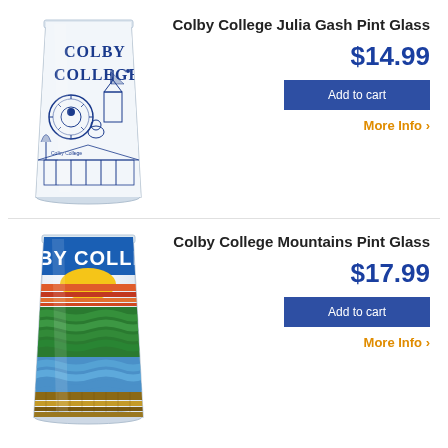[Figure (photo): Colby College Julia Gash Pint Glass - frosted glass with blue illustrated Colby College campus graphics]
Colby College Julia Gash Pint Glass
$14.99
Add to cart
More Info >
[Figure (photo): Colby College Mountains Pint Glass - colorful glass with mountain/sunset design and BY COLLE text]
Colby College Mountains Pint Glass
$17.99
Add to cart
More Info >